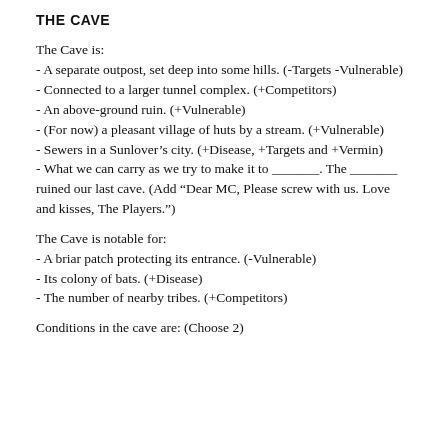THE CAVE
The Cave is:
- A separate outpost, set deep into some hills. (-Targets -Vulnerable)
- Connected to a larger tunnel complex. (+Competitors)
- An above-ground ruin. (+Vulnerable)
- (For now) a pleasant village of huts by a stream. (+Vulnerable)
- Sewers in a Sunlover’s city. (+Disease, +Targets and +Vermin)
- What we can carry as we try to make it to _______. The _______ ruined our last cave. (Add “Dear MC, Please screw with us. Love and kisses, The Players.”)
The Cave is notable for:
- A briar patch protecting its entrance. (-Vulnerable)
- Its colony of bats. (+Disease)
- The number of nearby tribes. (+Competitors)
Conditions in the cave are: (Choose 2)